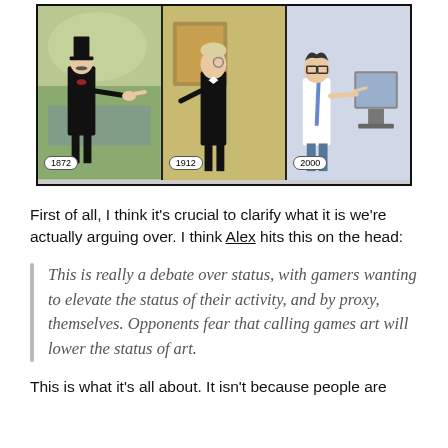[Figure (illustration): Three-panel comic strip showing figures at different years: 1872 (Victorian gentleman pointing), 1912 (man in tuxedo with monocle), 2000 (modern man with glasses pointing at computer). Each panel has a year badge at the bottom.]
First of all, I think it's crucial to clarify what it is we're actually arguing over. I think Alex hits this on the head:
This is really a debate over status, with gamers wanting to elevate the status of their activity, and by proxy, themselves. Opponents fear that calling games art will lower the status of art.
This is what it's all about. It isn't because people are